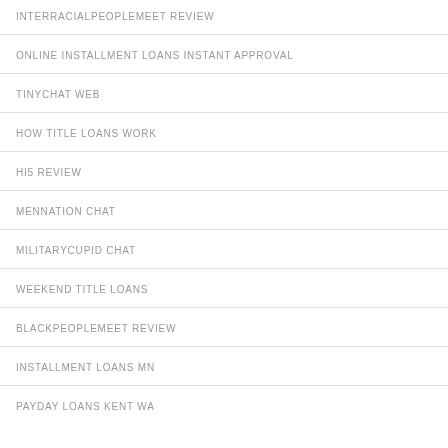INTERRACIALPEOPLEMEET REVIEW
ONLINE INSTALLMENT LOANS INSTANT APPROVAL
TINYCHAT WEB
HOW TITLE LOANS WORK
HI5 REVIEW
MENNATION CHAT
MILITARYCUPID CHAT
WEEKEND TITLE LOANS
BLACKPEOPLEMEET REVIEW
INSTALLMENT LOANS MN
PAYDAY LOANS KENT WA